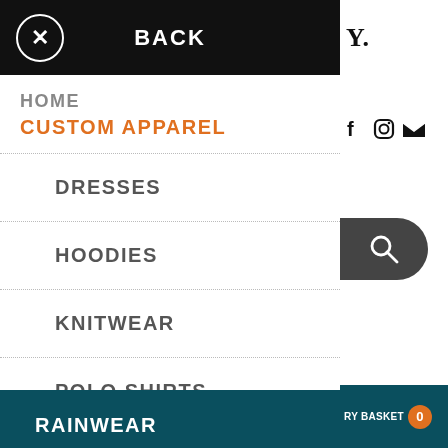BACK
HOME
CUSTOM APPAREL
DRESSES
HOODIES
KNITWEAR
POLO SHIRTS
RAINWEAR
SINGLETS
THONGS
Bags
RY BASKET 0